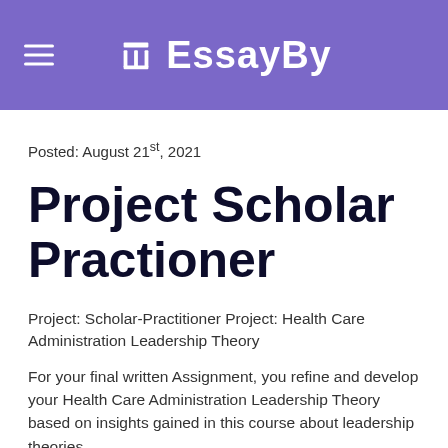EB EssayBy
Posted: August 21st, 2021
Project Scholar Practioner
Project: Scholar-Practitioner Project: Health Care Administration Leadership Theory
For your final written Assignment, you refine and develop your Health Care Administration Leadership Theory based on insights gained in this course about leadership theories